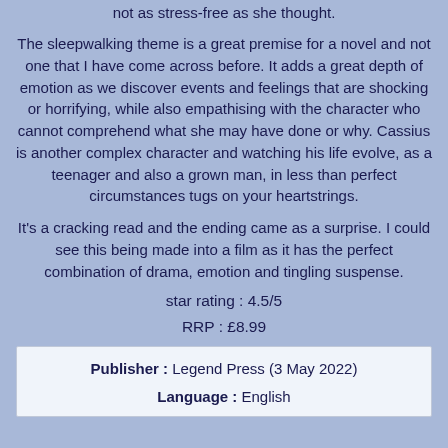not as stress-free as she thought.
The sleepwalking theme is a great premise for a novel and not one that I have come across before. It adds a great depth of emotion as we discover events and feelings that are shocking or horrifying, while also empathising with the character who cannot comprehend what she may have done or why. Cassius is another complex character and watching his life evolve, as a teenager and also a grown man, in less than perfect circumstances tugs on your heartstrings.
It's a cracking read and the ending came as a surprise. I could see this being made into a film as it has the perfect combination of drama, emotion and tingling suspense.
star rating : 4.5/5
RRP : £8.99
| Publisher : | Legend Press (3 May 2022) |
| Language : | English |